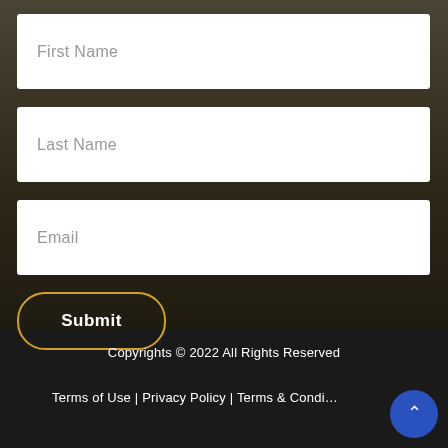[Figure (photo): Dark wintry background photo showing a crowd of people in winter clothing and hats, with buildings and storefronts visible in the upper portion]
First Name
Last Name
Email
Submit
Copyrights © 2022 All Rights Reserved
Terms of Use | Privacy Policy | Terms & Condi…